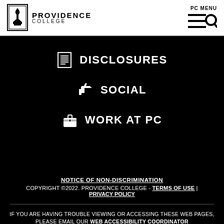Providence College | PC MENU
DISCLOSURES
SOCIAL
WORK AT PC
NOTICE OF NON-DISCRIMINATION
COPYRIGHT ©2022. PROVIDENCE COLLEGE - TERMS OF USE | PRIVACY POLICY
IF YOU ARE HAVING TROUBLE VIEWING OR ACCESSING THESE WEB PAGES, PLEASE EMAIL OUR WEB ACCESSIBILITY COORDINATOR